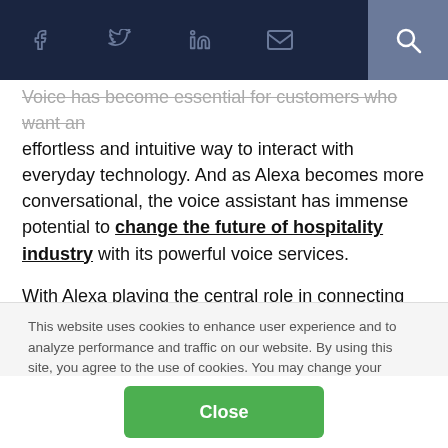Social share icons: Facebook, Twitter, LinkedIn, Email, Search
Voice has become essential for customers who want an effortless and intuitive way to interact with everyday technology. And as Alexa becomes more conversational, the voice assistant has immense potential to change the future of hospitality industry with its powerful voice services.

With Alexa playing the central role in connecting hotels with guests, it becomes easy for users to make requests to
This website uses cookies to enhance user experience and to analyze performance and traffic on our website. By using this site, you agree to the use of cookies. You may change your cookie settings at any time, but the site may not function properly. Cookie Policy
Close